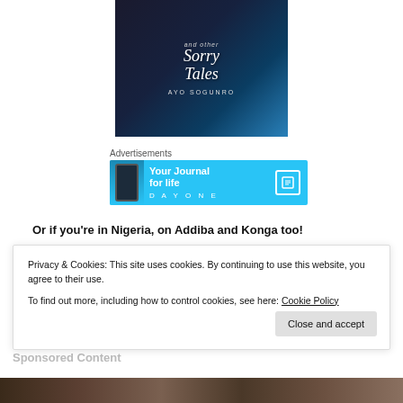[Figure (illustration): Book cover showing 'and other Sorry Tales' by Ayo Sogunro with dark blue background and wine glass imagery]
Advertisements
[Figure (infographic): DayOne app advertisement banner with phone image, text 'Your Journal for life' and DAYONE logo on blue background]
Or if you're in Nigeria, on Addiba and Konga too!
Privacy & Cookies: This site uses cookies. By continuing to use this website, you agree to their use.
To find out more, including how to control cookies, see here: Cookie Policy
Close and accept
Sponsored Content
[Figure (photo): Bottom partial image showing faces/people]